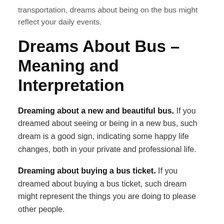transportation, dreams about being on the bus might reflect your daily events.
Dreams About Bus – Meaning and Interpretation
Dreaming about a new and beautiful bus. If you dreamed about seeing or being in a new bus, such dream is a good sign, indicating some happy life changes, both in your private and professional life.
Dreaming about buying a bus ticket. If you dreamed about buying a bus ticket, such dream might represent the things you are doing to please other people.